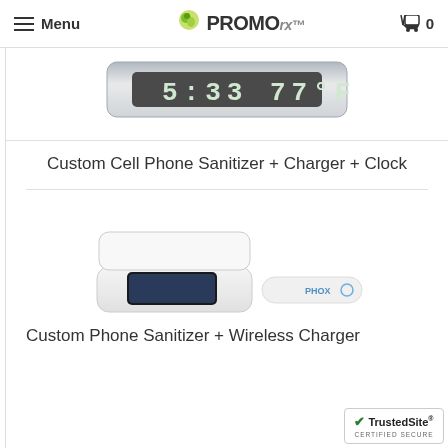Menu | PROMOrx | 0
[Figure (photo): Clock/sanitizer device showing digital display reading 5:33 77°F, top portion of product]
Custom Cell Phone Sanitizer + Charger + Clock
[Figure (photo): Two white electronic devices: an open phone sanitizer case with a smartphone inside and a wireless charger pad]
Custom Phone Sanitizer + Wireless Charger
[Figure (logo): TrustedSite Certified Secure badge]